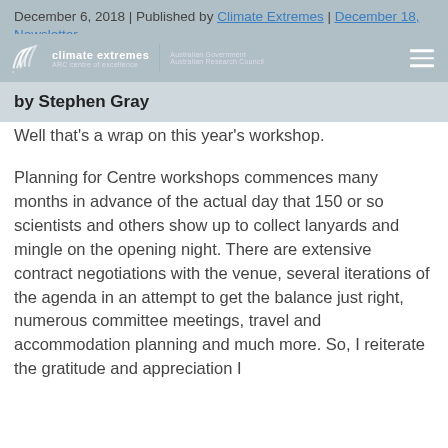December 6, 2018 | Published by Climate Extremes | December 18, Newsletter
[Figure (logo): Climate Extremes ARC centre of excellence logo with partner logos]
by Stephen Gray
Well that’s a wrap on this year’s workshop.
Planning for Centre workshops commences many months in advance of the actual day that 150 or so scientists and others show up to collect lanyards and mingle on the opening night. There are extensive contract negotiations with the venue, several iterations of the agenda in an attempt to get the balance just right, numerous committee meetings, travel and accommodation planning and much more. So, I reiterate the gratitude and appreciation I